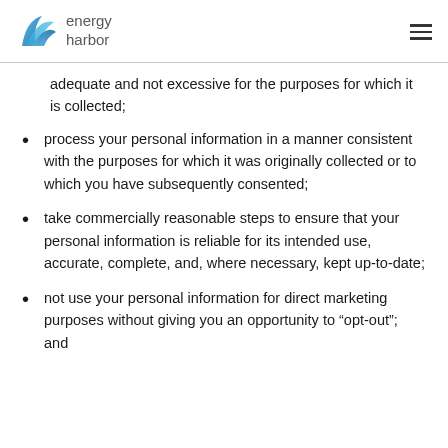energy harbor
adequate and not excessive for the purposes for which it is collected;
process your personal information in a manner consistent with the purposes for which it was originally collected or to which you have subsequently consented;
take commercially reasonable steps to ensure that your personal information is reliable for its intended use, accurate, complete, and, where necessary, kept up-to-date;
not use your personal information for direct marketing purposes without giving you an opportunity to “opt-out”; and